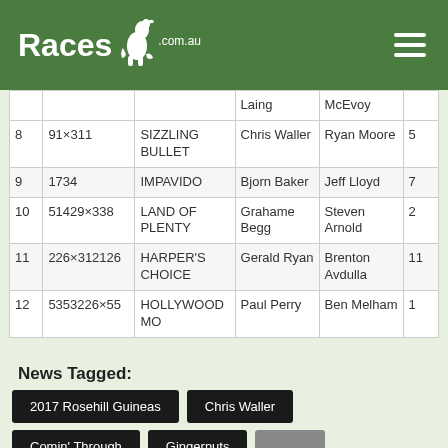Races.com.au
| # | Odds | Horse | Trainer | Jockey | Barrier |
| --- | --- | --- | --- | --- | --- |
|  |  |  | Laing | McEvoy |  |
| 8 | 91×311 | SIZZLING BULLET | Chris Waller | Ryan Moore | 5 |
| 9 | 1734 | IMPAVIDO | Bjorn Baker | Jeff Lloyd | 7 |
| 10 | 51429×338 | LAND OF PLENTY | Grahame Begg | Steven Arnold | 2 |
| 11 | 226×312126 | HARPER'S CHOICE | Gerald Ryan | Brenton Avdulla | 11 |
| 12 | 5353226×55 | HOLLYWOOD MO | Paul Perry | Ben Melham | 1 |
News Tagged:
2017 Rosehill Guineas
Chris Waller
Comin' Through
Gingernuts